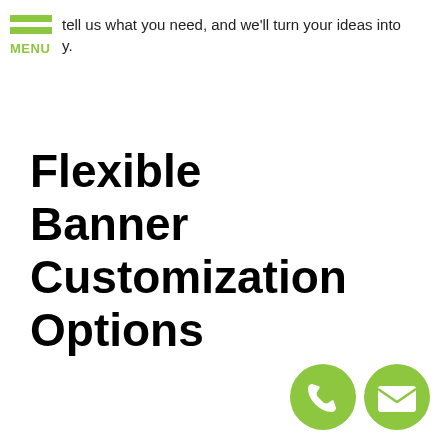tell us what you need, and we'll turn your ideas into y.
Flexible Banner Customization Options
[Figure (illustration): Two circular green contact buttons at bottom right: a phone icon and an envelope/mail icon]